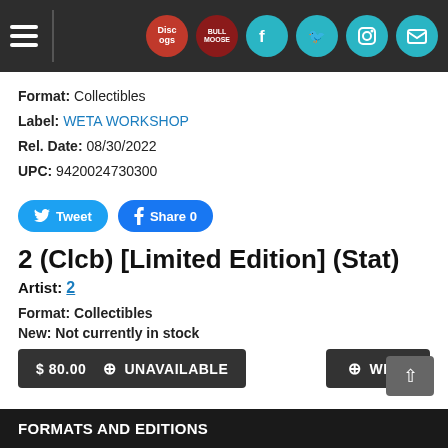[Figure (screenshot): Navigation bar with hamburger menu icon and social media icons (Discogs, red icon, Facebook, Twitter, Instagram, mail) on dark background]
Format: Collectibles
Label: WETA WORKSHOP
Rel. Date: 08/30/2022
UPC: 9420024730300
[Figure (other): Social sharing buttons: Tweet and Share 0]
2 (Clcb) [Limited Edition] (Stat)
Artist: 2
Format: Collectibles
New: Not currently in stock
[Figure (other): Action buttons: $80.00 UNAVAILABLE and WISH]
FORMATS AND EDITIONS